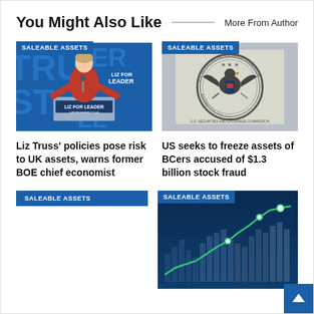You Might Also Like
More From Author
[Figure (photo): Liz Truss speaking at podium with 'LIZ FOR LEADER' banner and LIZFORLEADER.CO.UK, blue background with TRUST text]
SALEABLE ASSETS
Liz Truss' policies pose risk to UK assets, warns former BOE chief economist
[Figure (photo): Close-up of SEC (U.S. Securities and Exchange Commission) official seal/emblem on document]
SALEABLE ASSETS
US seeks to freeze assets of BCers accused of $1.3 billion stock fraud
SALEABLE ASSETS
[Figure (photo): Financial chart showing green line chart trending upward with bar chart in background, dark blue background]